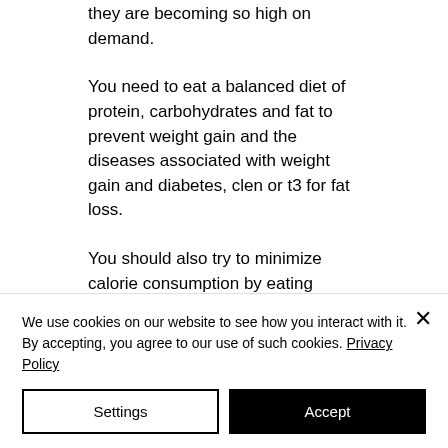they are becoming so high on demand.
You need to eat a balanced diet of protein, carbohydrates and fat to prevent weight gain and the diseases associated with weight gain and diabetes, clen or t3 for fat loss.
You should also try to minimize calorie consumption by eating healthy, whole foods such as fruits, vegetables and whole grains rather than refined sugar and added refined grains, winstrol weight loss reviews.
You also need to eliminate any unnecessary
We use cookies on our website to see how you interact with it. By accepting, you agree to our use of such cookies. Privacy Policy
Settings
Accept